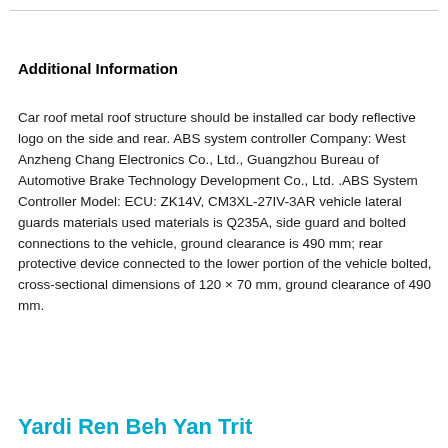Additional Information
Car roof metal roof structure should be installed car body reflective logo on the side and rear. ABS system controller Company: West Anzheng Chang Electronics Co., Ltd., Guangzhou Bureau of Automotive Brake Technology Development Co., Ltd. .ABS System Controller Model: ECU: ZK14V, CM3XL-27IV-3AR vehicle lateral guards materials used materials is Q235A, side guard and bolted connections to the vehicle, ground clearance is 490 mm; rear protective device connected to the lower portion of the vehicle bolted, cross-sectional dimensions of 120 × 70 mm, ground clearance of 490 mm.
Yardi Ren Beh Yan Trit